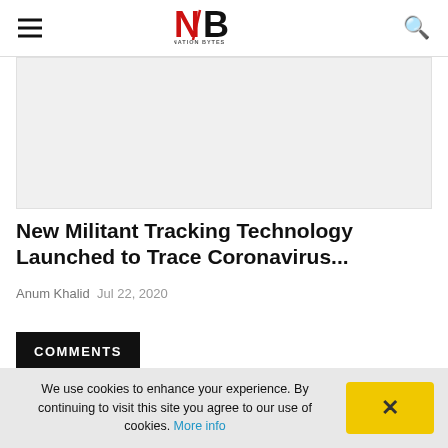Nation Bytes — navigation header with hamburger menu and search icon
[Figure (illustration): Article featured image placeholder (light gray background)]
New Militant Tracking Technology Launched to Trace Coronavirus...
Anum Khalid  Jul 22, 2020
COMMENTS
Name
We use cookies to enhance your experience. By continuing to visit this site you agree to our use of cookies. More info